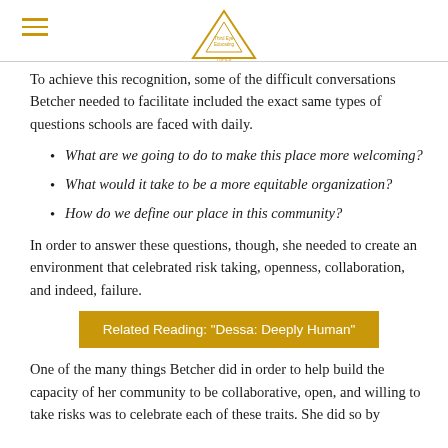Third Eye Educating [logo]
To achieve this recognition, some of the difficult conversations Betcher needed to facilitate included the exact same types of questions schools are faced with daily.
What are we going to do to make this place more welcoming?
What would it take to be a more equitable organization?
How do we define our place in this community?
In order to answer these questions, though, she needed to create an environment that celebrated risk taking, openness, collaboration, and indeed, failure.
Related Reading: "Dessa: Deeply Human"
One of the many things Betcher did in order to help build the capacity of her community to be collaborative, open, and willing to take risks was to celebrate each of these traits. She did so by